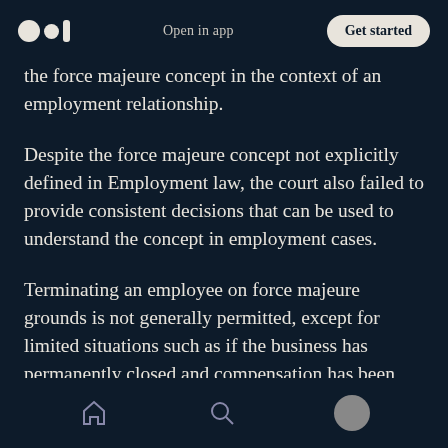Open in app | Get started
the force majeure concept in the context of an employment relationship.
Despite the force majeure concept not explicitly defined in Employment law, the court also failed to provide consistent decisions that can be used to understand the concept in employment cases.
Terminating an employee on force majeure grounds is not generally permitted, except for limited situations such as if the business has permanently closed and compensation has been paid.